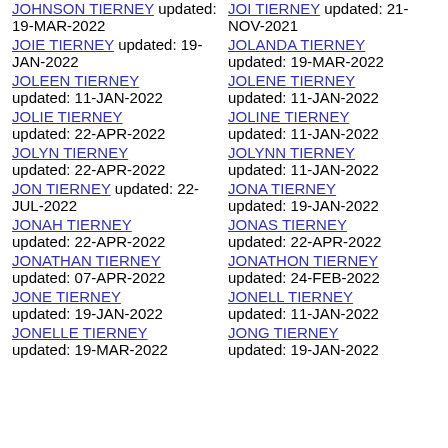JOHNSON TIERNEY updated: 19-MAR-2022
JOIE TIERNEY updated: 19-JAN-2022
JOLEEN TIERNEY updated: 11-JAN-2022
JOLIE TIERNEY updated: 22-APR-2022
JOLYN TIERNEY updated: 22-APR-2022
JON TIERNEY updated: 22-JUL-2022
JONAH TIERNEY updated: 22-APR-2022
JONATHAN TIERNEY updated: 07-APR-2022
JONE TIERNEY updated: 19-JAN-2022
JONELLE TIERNEY updated: 19-MAR-2022
JOI TIERNEY updated: 21-NOV-2021
JOLANDA TIERNEY updated: 19-MAR-2022
JOLENE TIERNEY updated: 11-JAN-2022
JOLINE TIERNEY updated: 11-JAN-2022
JOLYNN TIERNEY updated: 11-JAN-2022
JONA TIERNEY updated: 19-JAN-2022
JONAS TIERNEY updated: 22-APR-2022
JONATHON TIERNEY updated: 24-FEB-2022
JONELL TIERNEY updated: 11-JAN-2022
JONG TIERNEY updated: 19-JAN-2022